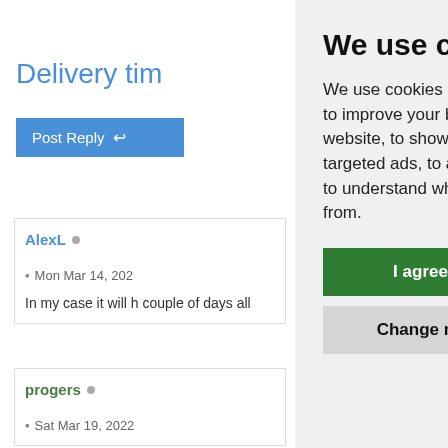Delivery tim
Post Reply
AlexL
Mon Mar 14, 202
In my case it will h couple of days all
progers
Sat Mar 19, 2022
We use cookies
We use cookies and other tracking technologies to improve your browsing experience on our website, to show you personalized content and targeted ads, to analyze our website traffic, and to understand where our visitors are coming from.
I agree
Change my preferences